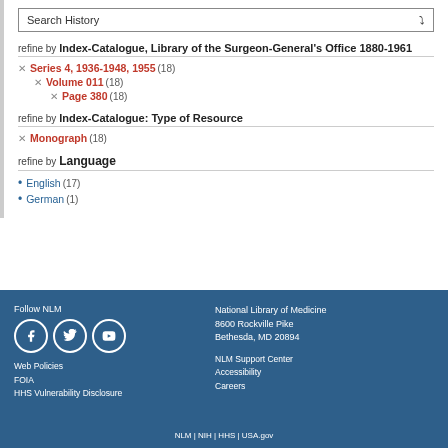Search History
refine by Index-Catalogue, Library of the Surgeon-General's Office 1880-1961
Series 4, 1936-1948, 1955 (18)
Volume 011 (18)
Page 380 (18)
refine by Index-Catalogue: Type of Resource
Monograph (18)
refine by Language
English (17)
German (1)
Follow NLM | Web Policies | FOIA | HHS Vulnerability Disclosure | National Library of Medicine 8600 Rockville Pike Bethesda, MD 20894 | NLM Support Center | Accessibility | Careers | NLM | NIH | HHS | USA.gov